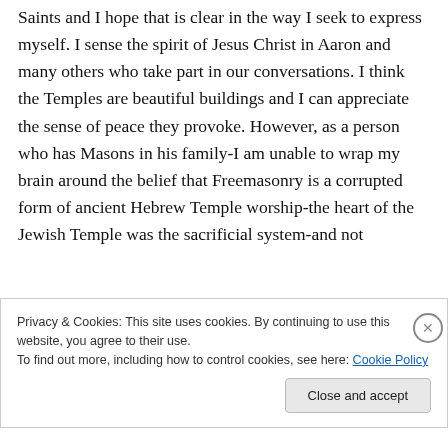Saints and I hope that is clear in the way I seek to express myself. I sense the spirit of Jesus Christ in Aaron and many others who take part in our conversations. I think the Temples are beautiful buildings and I can appreciate the sense of peace they provoke. However, as a person who has Masons in his family-I am unable to wrap my brain around the belief that Freemasonry is a corrupted form of ancient Hebrew Temple worship-the heart of the Jewish Temple was the sacrificial system-and not
Privacy & Cookies: This site uses cookies. By continuing to use this website, you agree to their use.
To find out more, including how to control cookies, see here: Cookie Policy
Close and accept